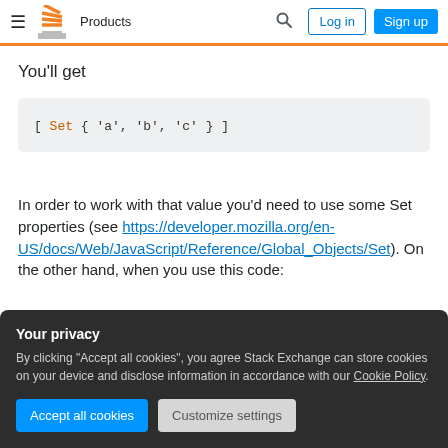[Figure (screenshot): Stack Overflow navigation bar with hamburger menu, logo, Products link, search icon, Log in and Sign up buttons. Orange bottom border.]
You'll get
[ Set { 'a', 'b', 'c' } ]
In order to work with that value you'd need to use some Set properties (see https://developer.mozilla.org/en-US/docs/Web/JavaScript/Reference/Global_Objects/Set). On the other hand, when you use this code:
Your privacy
By clicking "Accept all cookies", you agree Stack Exchange can store cookies on your device and disclose information in accordance with our Cookie Policy.
Accept all cookies   Customize settings